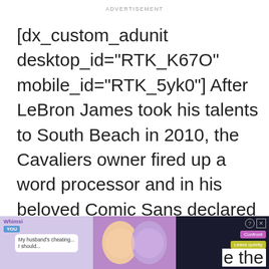ADVERTISEMENT
[dx_custom_adunit desktop_id="RTK_K67O" mobile_id="RTK_5yk0"] After LeBron James took his talents to South Beach in 2010, the Cavaliers owner fired up a word processor and in his beloved Comic Sans declared in a memo that his franchise would claim an NBA title before James: "The Cleveland Cava... the
[Figure (screenshot): Advertisement overlay at the bottom of the page showing a mobile game ad with text 'My husband\'s cheating... I should...' with Confront and Leave quietly buttons]